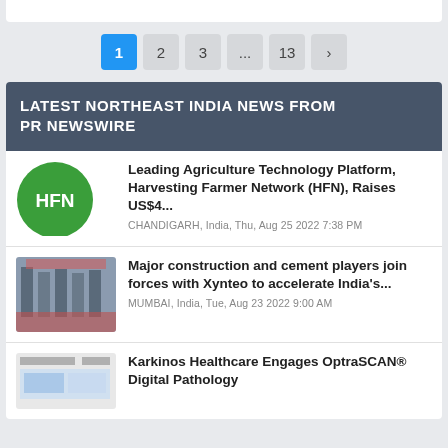[Figure (screenshot): White bar at the top representing the bottom of a previous section]
Pagination: 1 (active), 2, 3, ..., 13, >
LATEST NORTHEAST INDIA NEWS FROM PR NEWSWIRE
[Figure (logo): HFN green circle logo with white text HFN]
Leading Agriculture Technology Platform, Harvesting Farmer Network (HFN), Raises US$4...
CHANDIGARH, India, Thu, Aug 25 2022 7:38 PM
[Figure (photo): Group photo of business people at Xynteo event]
Major construction and cement players join forces with Xynteo to accelerate India's...
MUMBAI, India, Tue, Aug 23 2022 9:00 AM
[Figure (screenshot): Karkinos Healthcare OptraSCAN digital pathology screenshot]
Karkinos Healthcare Engages OptraSCAN® Digital Pathology